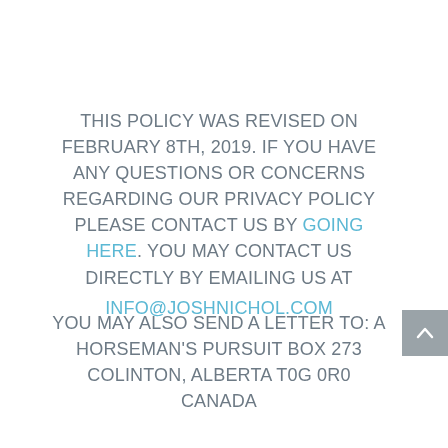THIS POLICY WAS REVISED ON FEBRUARY 8TH, 2019. IF YOU HAVE ANY QUESTIONS OR CONCERNS REGARDING OUR PRIVACY POLICY PLEASE CONTACT US BY GOING HERE. YOU MAY CONTACT US DIRECTLY BY EMAILING US AT INFO@JOSHNICHOL.COM
YOU MAY ALSO SEND A LETTER TO: A HORSEMAN'S PURSUIT BOX 273 COLINTON, ALBERTA T0G 0R0 CANADA